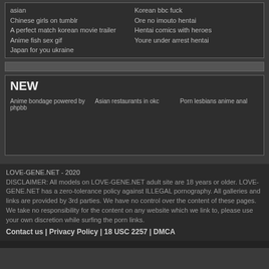asian
Chinese girls on tumblr
A perfect match korean movie trailer
Anime fish sex gif
Japan for you ukraine
Korean bbc fuck
Ore no imouto hentai
Hentai comics with heroes
Youre under arrest hentai
NEW
Anime bondage powered by phpbb
Asian restaurants in okc
Porn lesbians anime anal
LOVE-GENE.NET - 2020
DISCLAIMER: All models on LOVE-GENE.NET adult site are 18 years or older. LOVE-GENE.NET has a zero-tolerance policy against ILLEGAL pornography. All galleries and links are provided by 3rd parties. We have no control over the content of these pages. We take no responsibility for the content on any website which we link to, please use your own discretion while surfing the porn links.
Contact us | Privacy Policy | 18 USC 2257 | DMCA